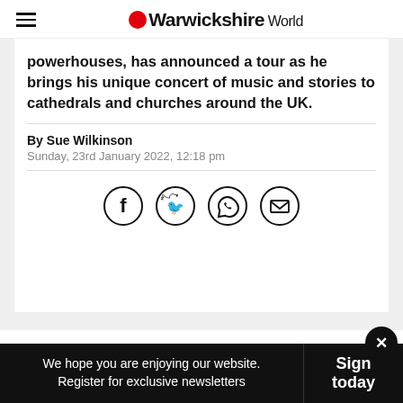Warwickshire World
powerhouses, has announced a tour as he brings his unique concert of music and stories to cathedrals and churches around the UK.
By Sue Wilkinson
Sunday, 23rd January 2022, 12:18 pm
[Figure (other): Social share icons: Facebook, Twitter, WhatsApp, Email]
We hope you are enjoying our website. Register for exclusive newsletters | Sign today